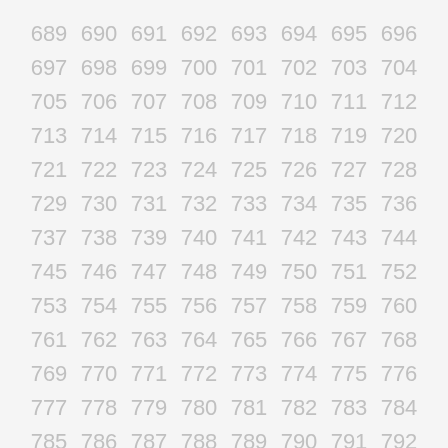689 690 691 692 693 694 695 696 697 698 699 700 701 702 703 704 705 706 707 708 709 710 711 712 713 714 715 716 717 718 719 720 721 722 723 724 725 726 727 728 729 730 731 732 733 734 735 736 737 738 739 740 741 742 743 744 745 746 747 748 749 750 751 752 753 754 755 756 757 758 759 760 761 762 763 764 765 766 767 768 769 770 771 772 773 774 775 776 777 778 779 780 781 782 783 784 785 786 787 788 789 790 791 792